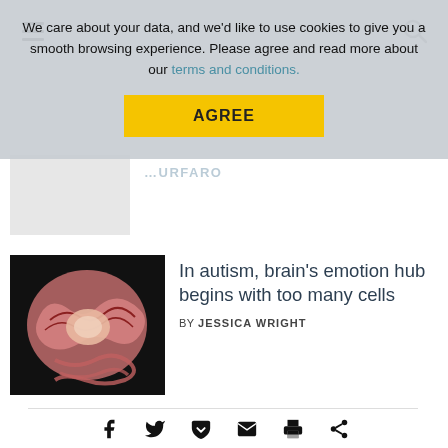We care about your data, and we'd like to use cookies to give you a smooth browsing experience. Please agree and read more about our terms and conditions.
AGREE
In autism, brain's emotion hub begins with too many cells
BY JESSICA WRIGHT
0 COMMENTS